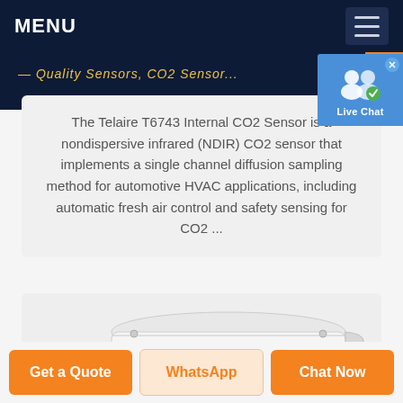MENU
The Telaire T6743 Internal CO2 Sensor is a nondispersive infrared (NDIR) CO2 sensor that implements a single channel diffusion sampling method for automotive HVAC applications, including automatic fresh air control and safety sensing for CO2 ...
[Figure (photo): Partial view of a Telaire T6743 Internal CO2 Sensor device, white/silver rectangular enclosure with rounded edges and visible mounting holes, shown at an angle]
Get a Quote
WhatsApp
Chat Now